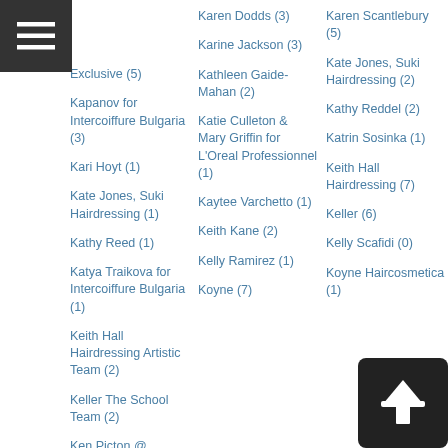Exclusive (5)
Kapanov for Intercoiffure Bulgaria (3)
Kari Hoyt (1)
Kate Jones, Suki Hairdressing (1)
Kathy Reed (1)
Katya Traikova for Intercoiffure Bulgaria (1)
Keith Hall Hairdressing Artistic Team (2)
Keller The School Team (2)
Ken Picton @
Karen Dodds (3)
Karine Jackson (3)
Kathleen Gaide-Mahan (2)
Katie Culleton & Mary Griffin for L'Oreal Professionnel (1)
Kaytee Varchetto (1)
Keith Kane (2)
Kelly Ramirez (1)
Koyne (7)
Karen Scantlebury (5)
Kate Jones, Suki Hairdressing (2)
Kathy Reddel (2)
Katrin Sosinka (1)
Keith Hall Hairdressing (7)
Keller (6)
Kelly Scafidi (0)
Koyne Haircosmetica (1)